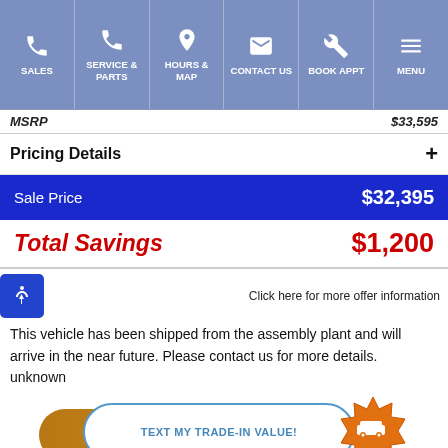SALES | SERVICE & PARTS | HOURS & MAP | CONTACT US | BOOK APPT | MENU
MSRP $33,595
Pricing Details
Sale Price $32,395
Total Savings $1,200
Click here for more offer information
This vehicle has been shipped from the assembly plant and will arrive in the near future. Please contact us for more details. unknown
[Figure (screenshot): TEXT MY TRADE-IN VALUE! button with gold pill background and orange starburst badge with car icon]
[Figure (screenshot): Gold banner with TEXT MY TRADE VALUE heading and Chat With Us chat bubble button]